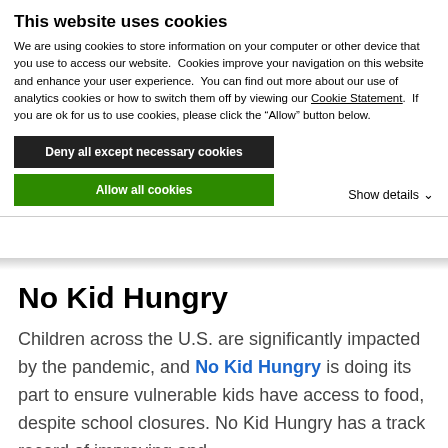This website uses cookies
We are using cookies to store information on your computer or other device that you use to access our website.  Cookies improve your navigation on this website and enhance your user experience.  You can find out more about our use of analytics cookies or how to switch them off by viewing our Cookie Statement.  If you are ok for us to use cookies, please click the “Allow” button below.
Deny all except necessary cookies
Allow all cookies
Show details ⌄
No Kid Hungry
Children across the U.S. are significantly impacted by the pandemic, and No Kid Hungry is doing its part to ensure vulnerable kids have access to food, despite school closures. No Kid Hungry has a track record of improving and